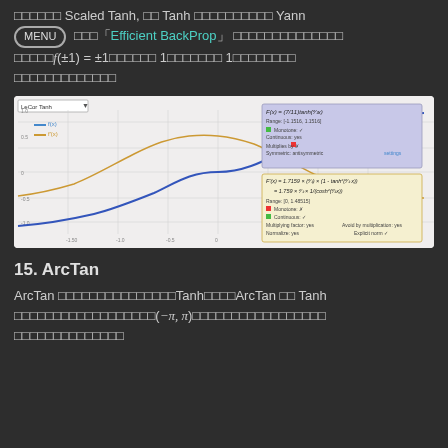□□□□□□ Scaled Tanh, □□ Tanh □□□□□□□□□□ Yann □□□ 「Efficient BackProp」 □□□□□□□□□□□□□□ □□□□□f(±1) = ±1□□□□□□ 1□□□□□□□ 1□□□□□□□□ □□□□□□□□□□□□□
[Figure (continuous-plot): Interactive graph showing f(x) (blue S-curve, Scaled Tanh) and f'(x) (orange bell-curve, derivative). Two info panels on the right: blue panel shows f(x) = (7/11)tanh(2/3 x) formula and settings; yellow panel shows f'(x) = 1.7159 * (2/3) * (1 - tanh^2(2/3 x)) = 1.7159 * (2/3) * 1/(cosh^2(2/3 x)) formula and settings. X-axis ranges approximately -2 to 2, y-axis ranges from about -1.5 to 1.]
15. ArcTan
ArcTan □□□□□□□□□□□□□□□Tanh□□□□ArcTan □□ Tanh □□□□□□□□□□□□□□□□□□(−π, π)□□□□□□□□□□□□□□□□□ □□□□□□□□□□□□□□